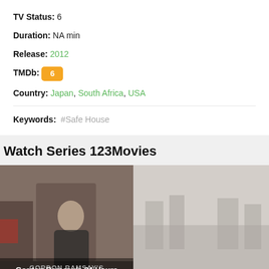TV Status: 6
Duration: NA min
Release: 2012
TMDb: 6
Country: Japan, South Africa, USA
Keywords: #Safe House
Watch Series 123Movies
[Figure (photo): Movie card for Gordon Ramsay's 24 Hours to Hell & Back showing Gordon Ramsay standing in front of a truck]
[Figure (photo): Movie card for Slow Horses showing a foggy/misty scene]